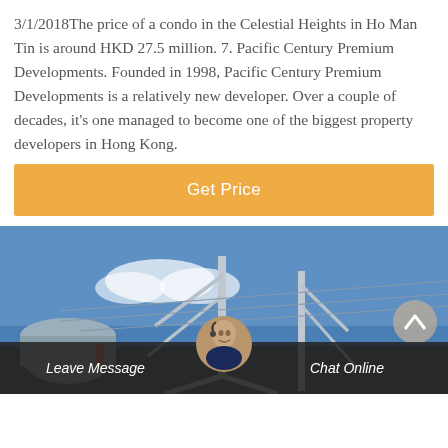3/1/2018The price of a condo in the Celestial Heights in Ho Man Tin is around HKD 27.5 million. 7. Pacific Century Premium Developments. Founded in 1998, Pacific Century Premium Developments is a relatively new developer. Over a couple of decades, it's one managed to become one of the biggest property developers in Hong Kong.
[Figure (other): Orange 'Get Price' call-to-action button]
[Figure (photo): Photo of industrial or infrastructure structures (metal pylons/towers) against a blue sky with clouds, with a bottom bar showing 'Leave Message' and 'Chat Online' and a customer service avatar in the center]